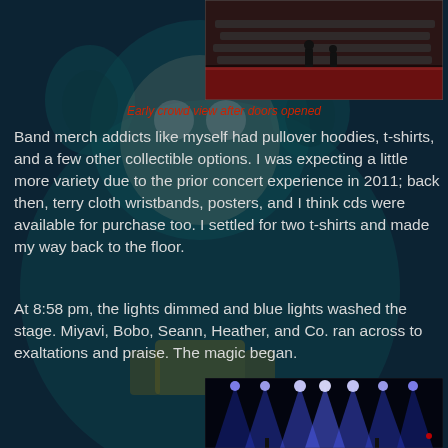[Figure (photo): Early crowd view photo — people in an auditorium/venue before the show, taken from elevated position, red stage visible]
Early crowd view after doors opened
Band merch addicts like myself had pullover hoodies, t-shirts, and a few other collectible options. I was expecting a little more variety due to the prior concert experience in 2011; back then, terry cloth wristbands, posters, and I think cds were available for purchase too. I settled for two t-shirts and made my way back to the floor.
At 8:58 pm, the lights dimmed and blue lights washed the stage. Miyavi, Bobo, Seann, Heather, and Co. ran across to exaltations and praise. The magic began.
[Figure (photo): Concert photo showing blue stage lights illuminating a dark venue, multiple bright blue spotlights visible above the stage]